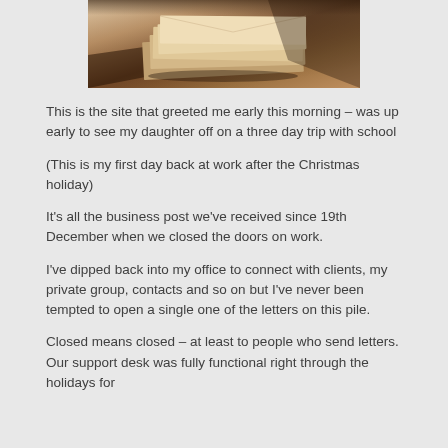[Figure (photo): A pile of business letters/envelopes stacked on a desk, photographed in warm sepia tones with dramatic lighting and shadows.]
This is the site that greeted me early this morning – was up early to see my daughter off on a three day trip with school
(This is my first day back at work after the Christmas holiday)
It's all the business post we've received since 19th December when we closed the doors on work.
I've dipped back into my office to connect with clients, my private group, contacts and so on but I've never been tempted to open a single one of the letters on this pile.
Closed means closed – at least to people who send letters. Our support desk was fully functional right through the holidays for